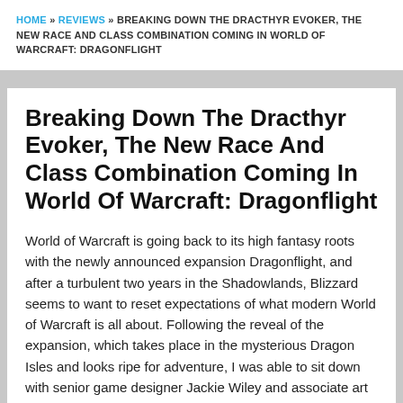HOME » REVIEWS » BREAKING DOWN THE DRACTHYR EVOKER, THE NEW RACE AND CLASS COMBINATION COMING IN WORLD OF WARCRAFT: DRAGONFLIGHT
Breaking Down The Dracthyr Evoker, The New Race And Class Combination Coming In World Of Warcraft: Dragonflight
World of Warcraft is going back to its high fantasy roots with the newly announced expansion Dragonflight, and after a turbulent two years in the Shadowlands, Blizzard seems to want to reset expectations of what modern World of Warcraft is all about. Following the reveal of the expansion, which takes place in the mysterious Dragon Isles and looks ripe for adventure, I was able to sit down with senior game designer Jackie Wiley and associate art director Tim W... to talk about all things Dragonflight, including...